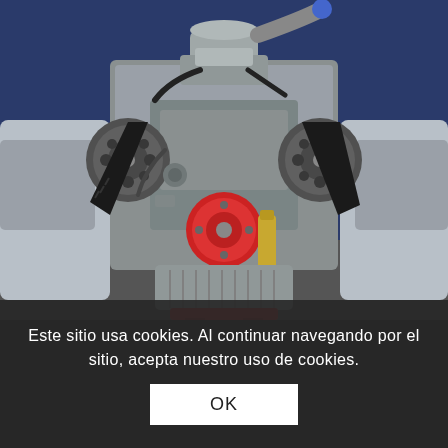[Figure (photo): A high-performance car engine shown from the front, mounted on a red engine stand. The engine is silver/aluminum colored with prominent timing belt pulleys on both left and right sides connected by black toothed belts forming a V-shape. A distinctive bright red circular pulley is visible at the center-bottom. A gold/brass colored component (likely a shock absorber or oil pump) is visible near center. Various hoses, pipes, and mechanical components are visible. The engine appears to be sitting in front of a silver car in a workshop with a blue wall background.]
Este sitio usa cookies. Al continuar navegando por el sitio, acepta nuestro uso de cookies.